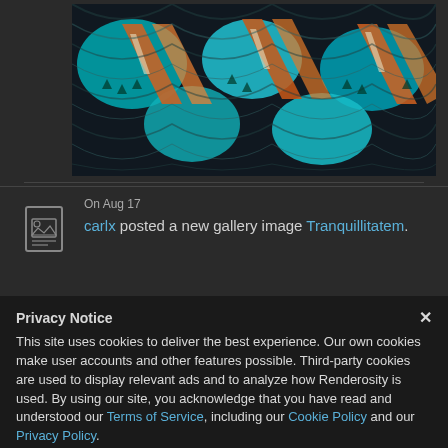[Figure (photo): A colorful fractal image with teal, blue, orange, and white swirling patterns resembling a Julia or Mandelbrot set, tiled repeatedly across the image area.]
On Aug 17
carlx posted a new gallery image Tranquillitatem.
Privacy Notice
This site uses cookies to deliver the best experience. Our own cookies make user accounts and other features possible. Third-party cookies are used to display relevant ads and to analyze how Renderosity is used. By using our site, you acknowledge that you have read and understood our Terms of Service, including our Cookie Policy and our Privacy Policy.